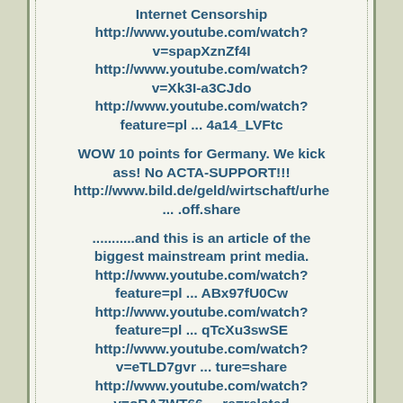Internet Censorship
http://www.youtube.com/watch?v=spapXznZf4I
http://www.youtube.com/watch?v=Xk3I-a3CJdo
http://www.youtube.com/watch?feature=pl ... 4a14_LVFtc
WOW 10 points for Germany. We kick ass! No ACTA-SUPPORT!!!
http://www.bild.de/geld/wirtschaft/urhe ... .off.share
...........and this is an article of the biggest mainstream print media.
http://www.youtube.com/watch?feature=pl ... ABx97fU0Cw
http://www.youtube.com/watch?feature=pl ... qTcXu3swSE
http://www.youtube.com/watch?v=eTLD7gvr ... ture=share
http://www.youtube.com/watch?v=oRA7WT66 ... re=related
First PIPA, then SOPA, now CISPA... Click here to learn more on the newest internet censorship attempt.
http://www.youtube.com/watch?v=Ya2TmSmb ... AAAAAAAPAA
http://www.republicreport.org/2012/afte ... book-page/